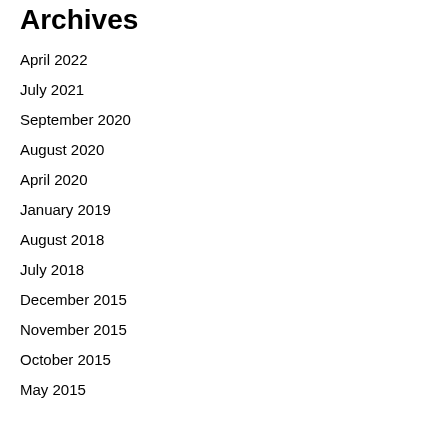Archives
April 2022
July 2021
September 2020
August 2020
April 2020
January 2019
August 2018
July 2018
December 2015
November 2015
October 2015
May 2015